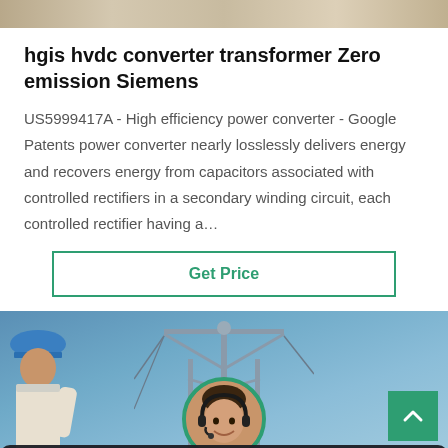[Figure (photo): Partial top image showing equipment or objects, cropped at top of page]
hgis hvdc converter transformer Zero emission Siemens
US5999417A - High efficiency power converter - Google Patents power converter nearly losslessly delivers energy and recovers energy from capacitors associated with controlled rectifiers in a secondary winding circuit, each controlled rectifier having a…
[Figure (photo): Button labeled Get Price with green border]
[Figure (photo): Photo of power transmission tower and worker wearing blue hard hat against blue sky, with customer service avatar and chat bar at bottom]
Leave Message   Chat Online